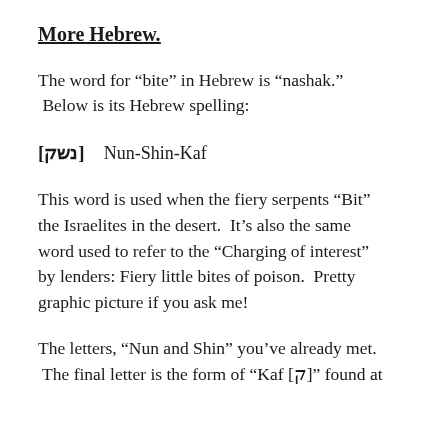More Hebrew.
The word for “bite” in Hebrew is “nashak.” Below is its Hebrew spelling:
[נשק]  Nun-Shin-Kaf
This word is used when the fiery serpents “Bit” the Israelites in the desert.  It’s also the same word used to refer to the “Charging of interest” by lenders: Fiery little bites of poison.  Pretty graphic picture if you ask me!
The letters, “Nun and Shin” you’ve already met. The final letter is the form of “Kaf [ק]” found at